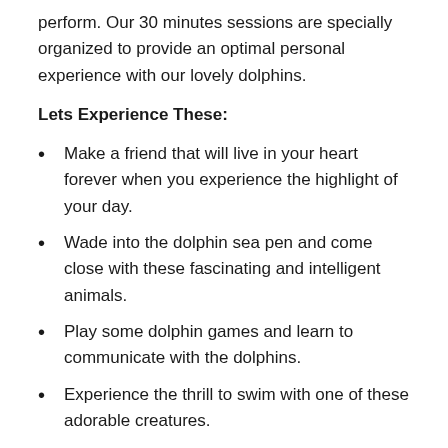perform. Our 30 minutes sessions are specially organized to provide an optimal personal experience with our lovely dolphins.
Lets Experience These:
Make a friend that will live in your heart forever when you experience the highlight of your day.
Wade into the dolphin sea pen and come close with these fascinating and intelligent animals.
Play some dolphin games and learn to communicate with the dolphins.
Experience the thrill to swim with one of these adorable creatures.
Learn about the dolphin's behavior and communication and discover a thing or two about their anatomy.
Our unique programs will give you the chance to